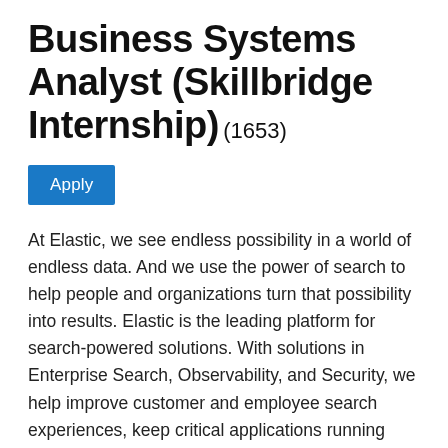Business Systems Analyst (Skillbridge Internship) (1653)
Apply
At Elastic, we see endless possibility in a world of endless data. And we use the power of search to help people and organizations turn that possibility into results. Elastic is the leading platform for search-powered solutions. With solutions in Enterprise Search, Observability, and Security, we help improve customer and employee search experiences, keep critical applications running smoothly, and protect against cyber threats. Elastic enables organizations worldwide to use the power